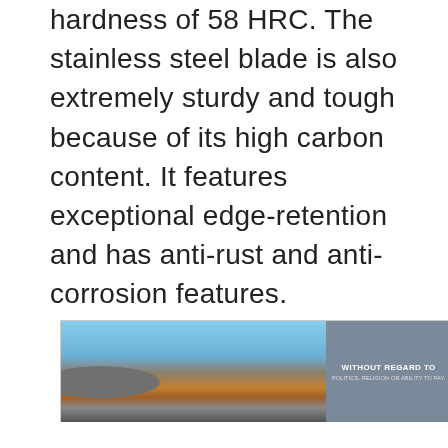hardness of 58 HRC. The stainless steel blade is also extremely sturdy and tough because of its high carbon content. It features exceptional edge-retention and has anti-rust and anti-corrosion features.
[Figure (photo): Advertisement banner showing a cargo airplane being loaded on a tarmac. On the right side is a gray panel with white text reading 'WITHOUT REGARD TO' and smaller subtext below.]